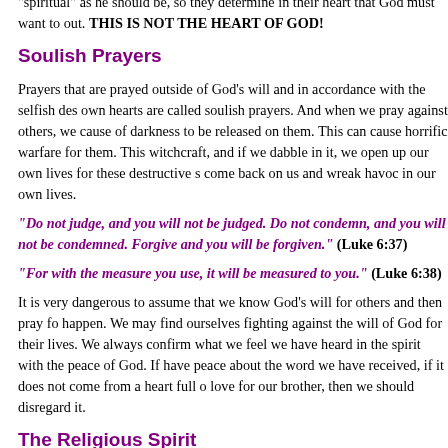"spiritual" as he should be, so they determine in their heart that God must want to out. THIS IS NOT THE HEART OF GOD!
Soulish Prayers
Prayers that are prayed outside of God's will and in accordance with the selfish des own hearts are called soulish prayers. And when we pray against others, we cause of darkness to be released on them. This can cause horrific warfare for them. This witchcraft, and if we dabble in it, we open up our own lives for these destructive s come back on us and wreak havoc in our own lives.
"Do not judge, and you will not be judged. Do not condemn, and you will not be condemned. Forgive and you will be forgiven." (Luke 6:37)
"For with the measure you use, it will be measured to you." (Luke 6:38)
It is very dangerous to assume that we know God's will for others and then pray fo happen. We may find ourselves fighting against the will of God for their lives. We always confirm what we feel we have heard in the spirit with the peace of God. If have peace about the word we have received, if it does not come from a heart full o love for our brother, then we should disregard it.
The Religious Spirit
The religious spirit is the same spirit that drove Paul to persecute the first church